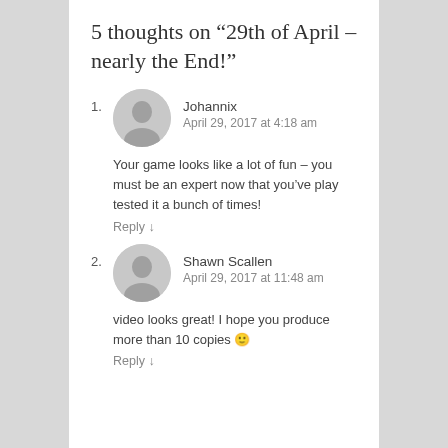5 thoughts on “29th of April – nearly the End!”
1. Johannix
April 29, 2017 at 4:18 am
Your game looks like a lot of fun – you must be an expert now that you’ve play tested it a bunch of times!
Reply ↓
2. Shawn Scallen
April 29, 2017 at 11:48 am
video looks great! I hope you produce more than 10 copies 🙂
Reply ↓